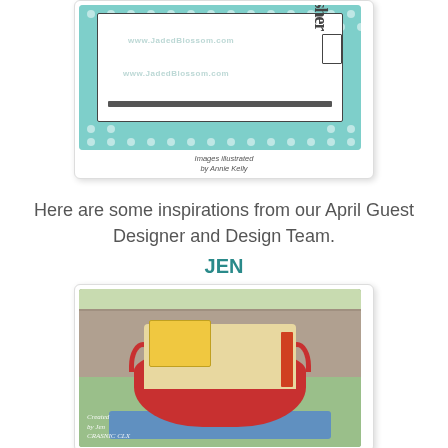[Figure (illustration): A digital stamp product image showing a teacher-themed stamp set cover with teal polka dot border and white interior panel. Text reads 'Images illustrated by Annie Kelly' at bottom. Watermark text 'www.JadedBlossom.com' visible.]
Here are some inspirations from our April Guest Designer and Design Team.
JEN
[Figure (photo): Photo of a red basket filled with craft supplies and books including a yellow book, a green book, small packages, and colored pencils. The basket sits on a blue towel outdoors on a stone wall background. Watermark reads 'Created by Jen CRASNIC CLX' at bottom left.]